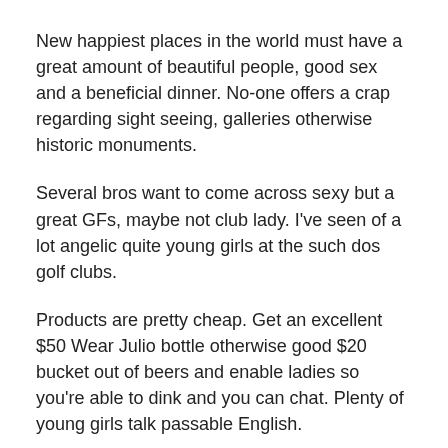New happiest places in the world must have a great amount of beautiful people, good sex and a beneficial dinner. No-one offers a crap regarding sight seeing, galleries otherwise historic monuments.
Several bros want to come across sexy but a great GFs, maybe not club lady. I've seen of a lot angelic quite young girls at the such dos golf clubs.
Products are pretty cheap. Get an excellent $50 Wear Julio bottle otherwise good $20 bucket out of beers and enable ladies so you're able to dink and you can chat. Plenty of young girls talk passable English.
Categories of people out of OC was basically partying right here for hours Friday up to 6 Are Sunday early morning, had an enjoyable experience. Guys has received incredibly breathtaking GFs because of these nightclubs. One to kid had a great 18 YO sensuous spinner Girl, lay her right up in the a flat, pay for rent and you will dining, took their clubbing, spent 3 or 4 nights a week with her. Hmm satisfied the clubs here with